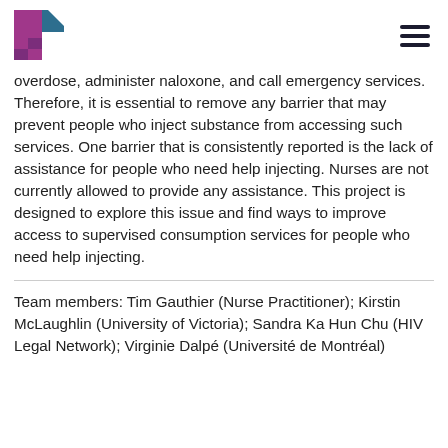[Logo] [Hamburger menu]
overdose, administer naloxone, and call emergency services. Therefore, it is essential to remove any barrier that may prevent people who inject substance from accessing such services. One barrier that is consistently reported is the lack of assistance for people who need help injecting. Nurses are not currently allowed to provide any assistance. This project is designed to explore this issue and find ways to improve access to supervised consumption services for people who need help injecting.
Team members: Tim Gauthier (Nurse Practitioner); Kirstin McLaughlin (University of Victoria); Sandra Ka Hun Chu (HIV Legal Network); Virginie Dalpé (Université de Montréal)